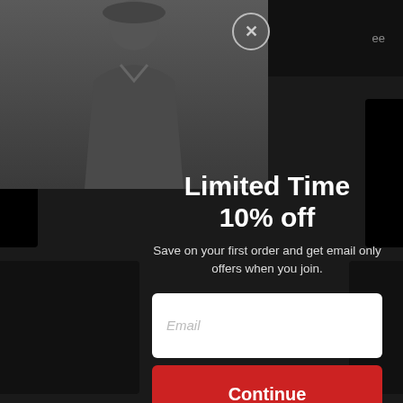[Figure (screenshot): E-commerce website popup modal with dark background showing a limited time 10% off discount offer. A man in a jacket is shown in the background. The modal contains a title, description, email input field, and a red Continue button.]
Limited Time
10% off
Save on your first order and get email only offers when you join.
Email
Continue